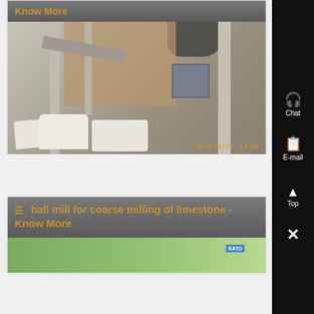Know More
[Figure (photo): Industrial ball mill equipment interior showing white powder bags on floor, conveyor/pipe structures, wooden board backdrop, motor unit, dark stain on ceiling. Timestamp: 2012/08/10 13:00]
≡ ball mill for coarse milling of limestone - Know More
[Figure (photo): Partial view of green outdoor equipment or machinery, possibly a ball mill installation]